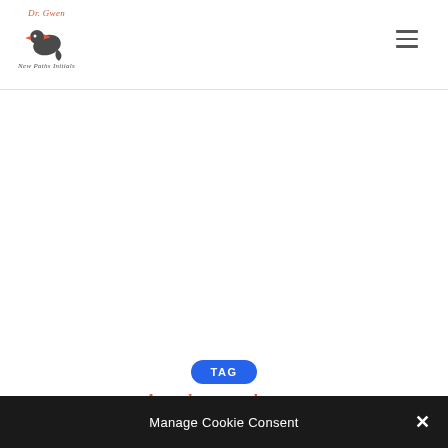[Figure (logo): Dr. Gwen logo with hummingbird and text 'New Paths Initials' below]
[Figure (other): Hamburger menu icon (three horizontal lines) in top right corner]
TAG
A d u l t
Manage Cookie Consent